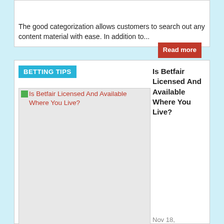The good categorization allows customers to search out any content material with ease. In addition to...
Read more
BETTING TIPS
Is Betfair Licensed And Available Where You Live?
[Figure (photo): Thumbnail image for article about Betfair licensing]
Nov 18, 2021
To read more about ดูบอลสดfun88 visit m.fin88
Here you will discover the highest bookmakers globally, along